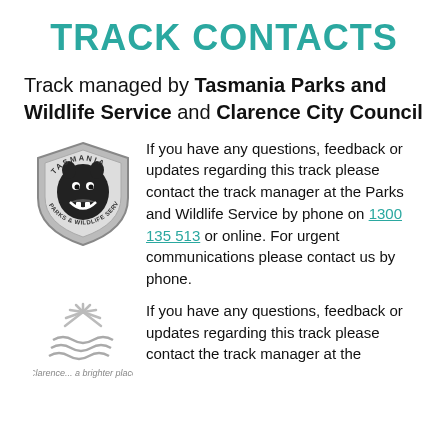TRACK CONTACTS
Track managed by Tasmania Parks and Wildlife Service and Clarence City Council
[Figure (logo): Tasmania Parks and Wildlife Service shield logo with Tasmanian devil]
If you have any questions, feedback or updates regarding this track please contact the track manager at the Parks and Wildlife Service by phone on 1300 135 513 or online. For urgent communications please contact us by phone.
[Figure (logo): Clarence City Council logo with sun/water rays, captioned 'Clarence... a brighter place']
If you have any questions, feedback or updates regarding this track please contact the track manager at the